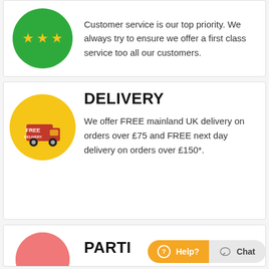[Figure (illustration): Green circle with three yellow stars - customer service icon (partially visible)]
Customer service is our top priority. We always try to ensure we offer a first class service too all our customers.
[Figure (illustration): Yellow circle with red delivery truck and FREE DELIVERY text]
DELIVERY
We offer FREE mainland UK delivery on orders over £75 and FREE next day delivery on orders over £150*.
[Figure (illustration): Pink circle with hands shaking - partially visible]
PARTI
[Figure (infographic): Help? Chat button bar at bottom right]